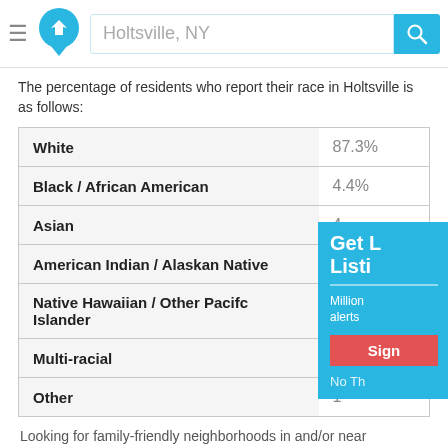Holtsville, NY
The percentage of residents who report their race in Holtsville is as follows:
| Race | Percentage |
| --- | --- |
| White | 87.3% |
| Black / African American | 4.4% |
| Asian | 4 |
| American Indian / Alaskan Native | 0 |
| Native Hawaiian / Other Pacifc Islander | 0 |
| Multi-racial | 1 |
| Other | 1 |
Looking for family-friendly neighborhoods in and/or near Holtsville? Or maybe you are searching for 55+ active adult communities in and/or near Holtsville?